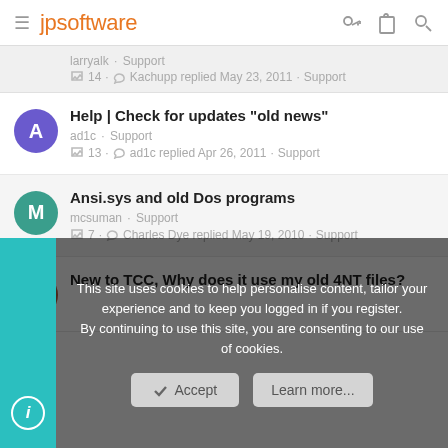jpsoftware
larryalk · Support | 14 · Kachupp replied May 23, 2011 · Support
Help | Check for updates "old news" | ad1c · Support | 13 · ad1c replied Apr 26, 2011 · Support
Ansi.sys and old Dos programs | mcsuman · Support | 7 · Charles Dye replied May 19, 2010 · Support
New to TCC, Why does it use my old 4NT files?
This site uses cookies to help personalise content, tailor your experience and to keep you logged in if you register.
By continuing to use this site, you are consenting to our use of cookies.